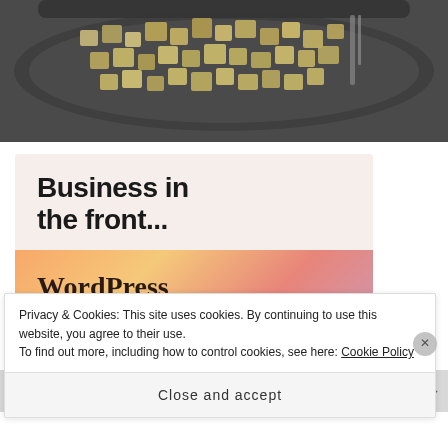[Figure (photo): Close-up photo of diced roasted food (likely potatoes or bread) in a dark baking pan, shot from above on a dark background.]
[Figure (screenshot): Advertisement block with two sections: top section on light beige background reads 'Business in the front...' in bold sans-serif, bottom section on orange/peach gradient background reads 'WordPress in the back.' in bold serif font with a WordPress logo and dark button at bottom.]
Privacy & Cookies: This site uses cookies. By continuing to use this website, you agree to their use.
To find out more, including how to control cookies, see here: Cookie Policy
Close and accept